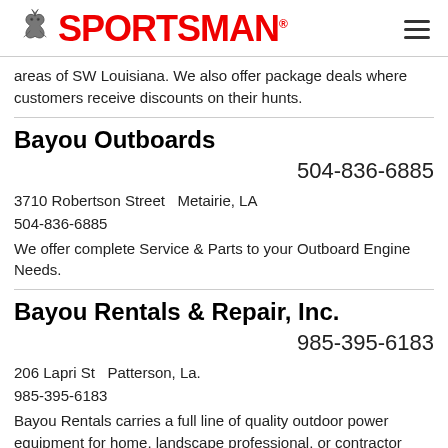[Figure (logo): Sportsman logo with fleur-de-lis bird icon and red SPORTSMAN text]
areas of SW Louisiana. We also offer package deals where customers receive discounts on their hunts.
Bayou Outboards
504-836-6885
3710 Robertson Street  Metairie, LA
504-836-6885
We offer complete Service & Parts to your Outboard Engine Needs.
Bayou Rentals & Repair, Inc.
985-395-6183
206 Lapri St  Patterson, La.
985-395-6183
Bayou Rentals carries a full line of quality outdoor power equipment for home, landscape professional, or contractor use.